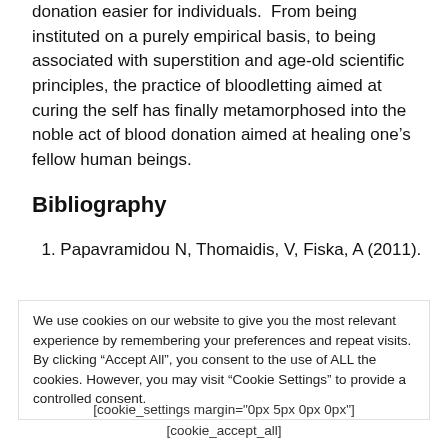donation easier for individuals. From being instituted on a purely empirical basis, to being associated with superstition and age-old scientific principles, the practice of bloodletting aimed at curing the self has finally metamorphosed into the noble act of blood donation aimed at healing one's fellow human beings.
Bibliography
1. Papavramidou N, Thomaidis, V, Fiska, A (2011).
We use cookies on our website to give you the most relevant experience by remembering your preferences and repeat visits. By clicking “Accept All”, you consent to the use of ALL the cookies. However, you may visit “Cookie Settings” to provide a controlled consent.
[cookie_settings margin="0px 5px 0px 0px"] [cookie_accept_all]